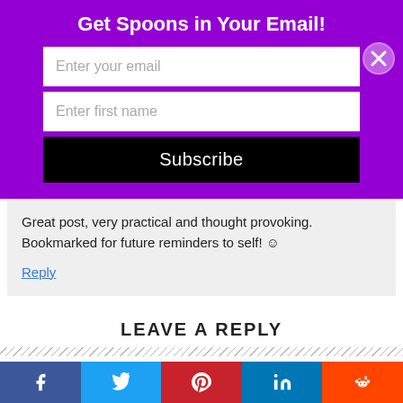Get Spoons in Your Email!
[Figure (screenshot): Email subscription form with 'Enter your email' and 'Enter first name' input fields, black Subscribe button, and a close (X) button overlay]
Great post, very practical and thought provoking. Bookmarked for future reminders to self! ☺
Reply
LEAVE A REPLY
Your email address will not be published. Required fields are
[Figure (infographic): Social media share bar with Facebook, Twitter, Pinterest, LinkedIn, and Reddit buttons]